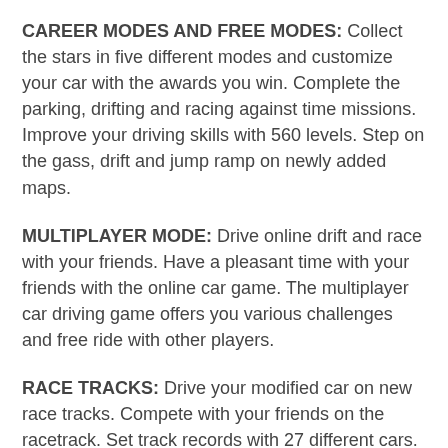CAREER MODES AND FREE MODES: Collect the stars in five different modes and customize your car with the awards you win. Complete the parking, drifting and racing against time missions. Improve your driving skills with 560 levels. Step on the gass, drift and jump ramp on newly added maps.
MULTIPLAYER MODE: Drive online drift and race with your friends. Have a pleasant time with your friends with the online car game. The multiplayer car driving game offers you various challenges and free ride with other players.
RACE TRACKS: Drive your modified car on new race tracks. Compete with your friends on the racetrack. Set track records with 27 different cars.
PARKING IN THE CITY MODE: Experience parking...